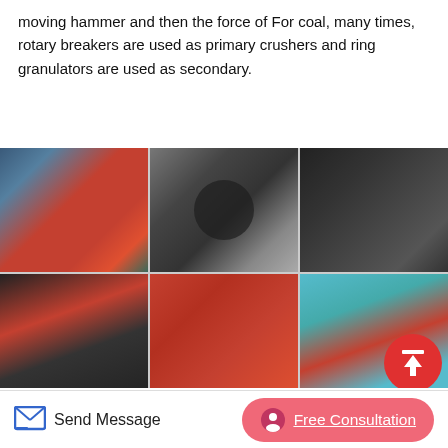moving hammer and then the force of For coal, many times, rotary breakers are used as primary crushers and ring granulators are used as secondary.
[Figure (photo): Grid of 6 industrial crusher equipment photos showing jaw plates, rotor assemblies, hammer components, vertical shaft impactors, and cone crushers in red and black.]
Effective Impact Crushers For Cement Plants Flsmidth
Ggm Energy Ventures Private Limited - Offering Impact Coal Crusher, ₹₹₹₹₹₹₹₹ ₹₹₹₹₹, Coal Crusher in Sanath Nagar Czech
Send Message | Free Consultation